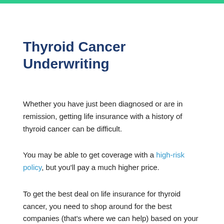Thyroid Cancer Underwriting
Whether you have just been diagnosed or are in remission, getting life insurance with a history of thyroid cancer can be difficult.
You may be able to get coverage with a high-risk policy, but you'll pay a much higher price.
To get the best deal on life insurance for thyroid cancer, you need to shop around for the best companies (that's where we can help) based on your cancer history.